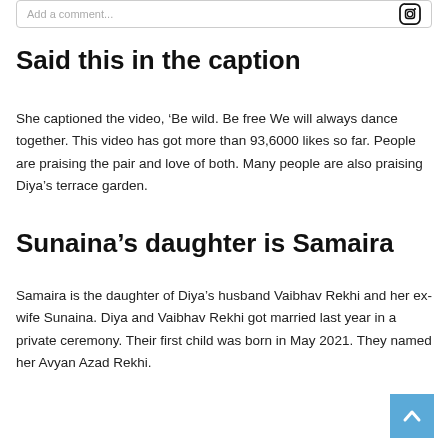Add a comment...
Said this in the caption
She captioned the video, ‘Be wild. Be free We will always dance together. This video has got more than 93,6000 likes so far. People are praising the pair and love of both. Many people are also praising Diya’s terrace garden.
Sunaina’s daughter is Samaira
Samaira is the daughter of Diya’s husband Vaibhav Rekhi and her ex-wife Sunaina. Diya and Vaibhav Rekhi got married last year in a private ceremony. Their first child was born in May 2021. They named her Avyan Azad Rekhi.